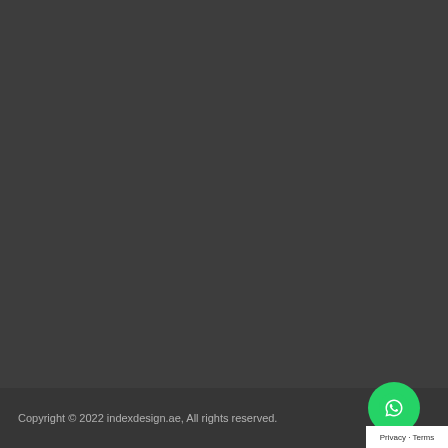Copyright © 2022 indexdesign.ae, All rights reserved.
[Figure (logo): WhatsApp chat button — green circle with white WhatsApp speech-bubble phone icon]
Privacy · Terms